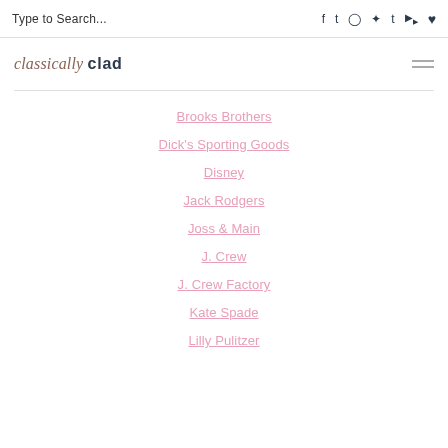Type to Search...  [social icons: Facebook, Twitter, Instagram, Pinterest, Tumblr, YouTube, Wishlist]
classically clad
Brooks Brothers
Dick's Sporting Goods
Disney
Jack Rodgers
Joss & Main
J. Crew
J. Crew Factory
Kate Spade
Lilly Pulitzer